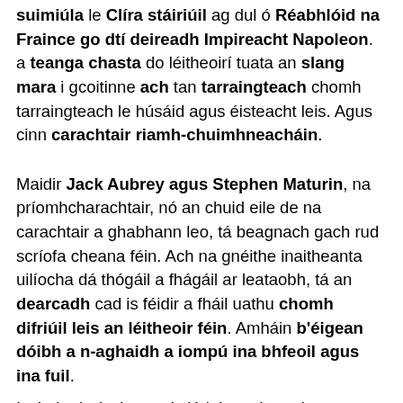suimiúla le Clíra stáiriúil ag dul ó Réabhlóid na Fraince go dtí deireadh Impireacht Napoleon. a teanga chasta do léitheoirí tuata an slang mara i gcoitinne ach tan tarraingteach chomh tarraingteach le húsáid agus éisteacht leis. Agus cinn carachtair riamh-chuimhneacháin.
Maidir Jack Aubrey agus Stephen Maturin, na príomhcharachtair, nó an chuid eile de na carachtair a ghabhann leo, tá beagnach gach rud scríofa cheana féin. Ach na gnéithe inaitheanta uilíocha dá thógáil a fhágáil ar leataobh, tá an dearcadh cad is féidir a fháil uathu chomh difriúil leis an léitheoir féin. Amháin b'éigean dóibh a n-aghaidh a iompú ina bhfeoil agus ina fuil.
Is é sin draíocht na pictiúrlainne, beag beann ar na